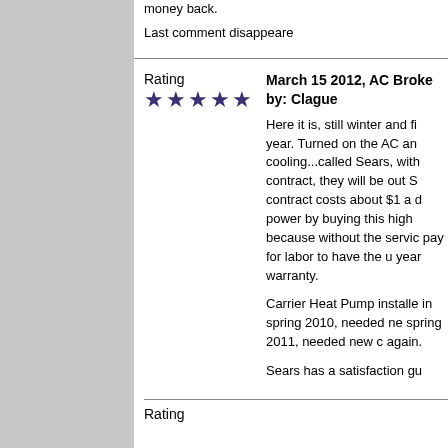money back.

Last comment disappeare
Rating
★★★★★

March 15 2012, AC Broke by: Clague

Here it is, still winter and fi year. Turned on the AC an cooling...called Sears, with contract, they will be out S contract costs about $1 a d power by buying this high because without the servic pay for labor to have the u year warranty.

Carrier Heat Pump installe in spring 2010, needed ne spring 2011, needed new c again.

Sears has a satisfaction gu
Rating